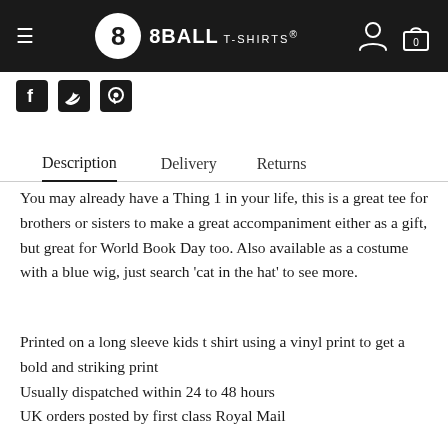8BALL T-SHIRTS
[Figure (logo): Social share icons: Facebook, Twitter, Pinterest]
Description   Delivery   Returns
You may already have a Thing 1 in your life, this is a great tee for brothers or sisters to make a great accompaniment either as a gift, but great for World Book Day too. Also available as a costume with a blue wig, just search 'cat in the hat' to see more.
Printed on a long sleeve kids t shirt using a vinyl print to get a bold and striking print
Usually dispatched within 24 to 48 hours
UK orders posted by first class Royal Mail